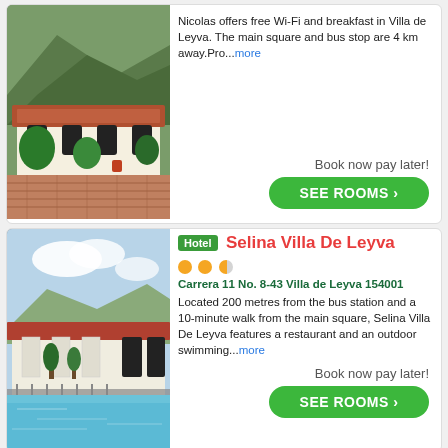[Figure (photo): Hacienda-style building with red tiled roof, green garden, mountains in background, brick courtyard]
Nicolas offers free Wi-Fi and breakfast in Villa de Leyva. The main square and bus stop are 4 km away.Pro...more
Book now pay later!
SEE ROOMS ›
Hotel Selina Villa De Leyva
Carrera 11 No. 8-43 Villa de Leyva 154001
Located 200 metres from the bus station and a 10-minute walk from the main square, Selina Villa De Leyva features a restaurant and an outdoor swimming...more
Book now pay later!
SEE ROOMS ›
[Figure (photo): Hotel with white building, red tiled roof, outdoor swimming pool with blue water, garden]